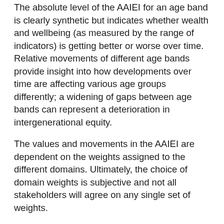The absolute level of the AAIEI for an age band is clearly synthetic but indicates whether wealth and wellbeing (as measured by the range of indicators) is getting better or worse over time. Relative movements of different age bands provide insight into how developments over time are affecting various age groups differently; a widening of gaps between age bands can represent a deterioration in intergenerational equity.
The values and movements in the AAIEI are dependent on the weights assigned to the different domains. Ultimately, the choice of domain weights is subjective and not all stakeholders will agree on any single set of weights.
The Interactive Results page on this website allows users to set their own weights for the different domains if they want to explore how that affects the results compared with those presented in the Actuaries Institute Green Paper Mind the Gap - Australian Actuaries Intergenerational Equity Index and the updated Green Paper A narrow escape? - The 2021 Australian Actuaries Intergenerational Equity Index.